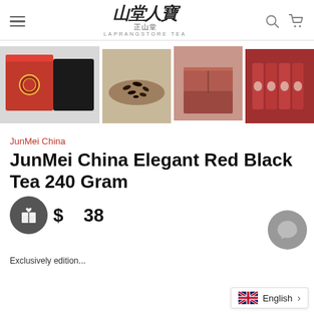Laprangstore Tea — navigation header with hamburger menu, logo, search and cart icons
[Figure (photo): Product image gallery showing JunMei China Elegant Red Black Tea packaging: red gift box open (main), loose black tea on wooden tray, pink/red boxes stacked, red foil packets in box, partial red box]
JunMei China
JunMei China Elegant Red Black Tea 240 Gram
$___38
Exclusively edition...